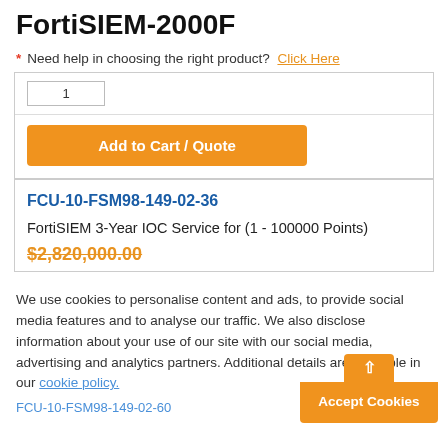FortiSIEM-2000F
* Need help in choosing the right product? Click Here
1
Add to Cart / Quote
FCU-10-FSM98-149-02-36
FortiSIEM 3-Year IOC Service for (1 - 100000 Points)
$2,820,000.00
We use cookies to personalise content and ads, to provide social media features and to analyse our traffic. We also disclose information about your use of our site with our social media, advertising and analytics partners. Additional details are available in our cookie policy.
FCU-10-FSM98-149-02-60
Accept Cookies